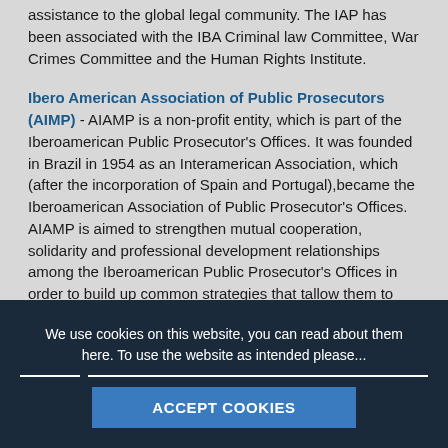assistance to the global legal community. The IAP has been associated with the IBA Criminal law Committee, War Crimes Committee and the Human Rights Institute.
Ibero American Association of Public Prosecutors (AIMP) - AIAMP is a non-profit entity, which is part of the Iberoamerican Public Prosecutor’s Offices. It was founded in Brazil in 1954 as an Interamerican Association, which (after the incorporation of Spain and Portugal),became the Iberoamerican Association of Public Prosecutor’s Offices. AIAMP is aimed to strengthen mutual cooperation, solidarity and professional development relationships among the Iberoamerican Public Prosecutor’s Offices in order to build up common strategies that tallow them to face and improve the criminal prosecution.
... (partial text cut off at bottom)
We use cookies on this website, you can read about them here. To use the website as intended please... ACCEPT COOKIES